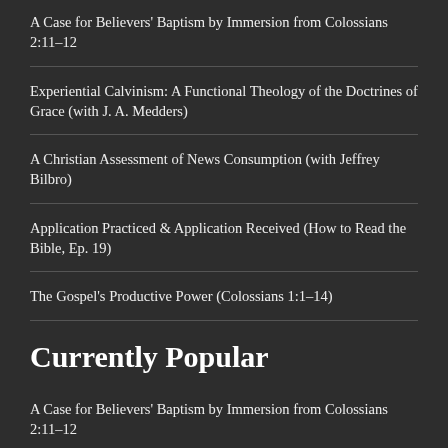A Case for Believers' Baptism by Immersion from Colossians 2:11–12
Experiential Calvinism: A Functional Theology of the Doctrines of Grace (with J. A. Medders)
A Christian Assessment of News Consumption (with Jeffrey Bilbro)
Application Practiced & Application Received (How to Read the Bible, Ep. 19)
The Gospel's Productive Power (Colossians 1:1–14)
Currently Popular
A Case for Believers' Baptism by Immersion from Colossians 2:11–12
On the Interplay Between Congregational(ism) & Elder–Rule